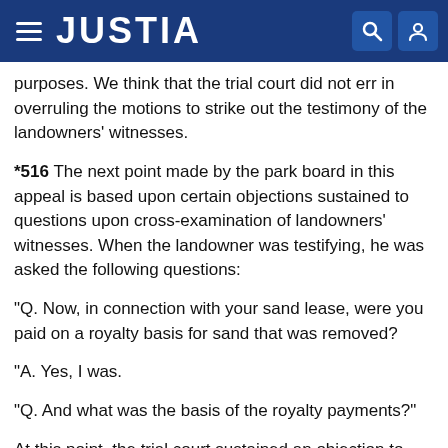JUSTIA
purposes. We think that the trial court did not err in overruling the motions to strike out the testimony of the landowners' witnesses.
*516 The next point made by the park board in this appeal is based upon certain objections sustained to questions upon cross-examination of landowners' witnesses. When the landowner was testifying, he was asked the following questions:
"Q. Now, in connection with your sand lease, were you paid on a royalty basis for sand that was removed?
"A. Yes, I was.
"Q. And what was the basis of the royalty payments?"
At this point, the trial court sustained an objection to